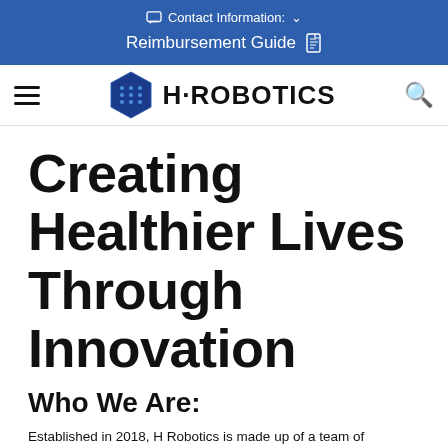Contact Information: ∨
Reimbursement Guide
[Figure (logo): H·ROBOTICS logo with blue hexagon icon and bold text]
Creating Healthier Lives Through Innovation
Who We Are:
Established in 2018, H Robotics is made up of a team of innovators who share a passion for improving lives. We are one of the fastest growing